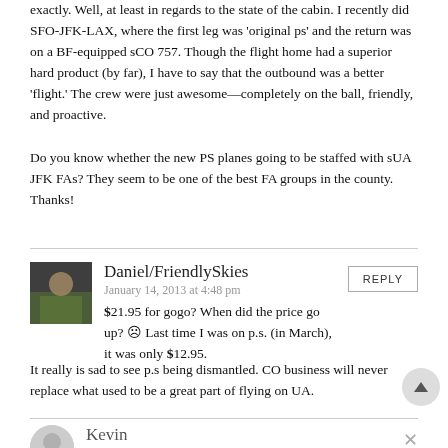exactly. Well, at least in regards to the state of the cabin. I recently did SFO-JFK-LAX, where the first leg was 'original ps' and the return was on a BF-equipped sCO 757. Though the flight home had a superior hard product (by far), I have to say that the outbound was a better 'flight.' The crew were just awesome—completely on the ball, friendly, and proactive.
Do you know whether the new PS planes going to be staffed with sUA JFK FAs? They seem to be one of the best FA groups in the county. Thanks!
Daniel/FriendlySkies
January 14, 2013 at 4:48 pm
$21.95 for gogo? When did the price go up? ☹ Last time I was on p.s. (in March), it was only $12.95.
It really is sad to see p.s being dismantled. CO business will never replace what used to be a great part of flying on UA.
Kevin